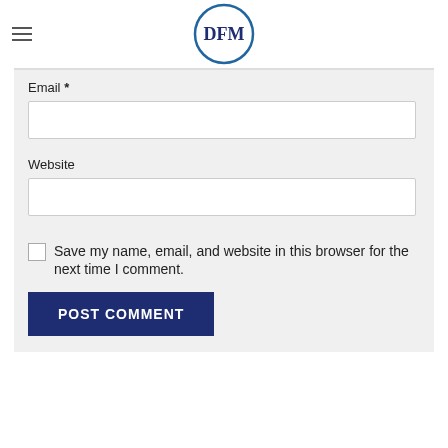DFM logo with hamburger menu
Email *
Website
Save my name, email, and website in this browser for the next time I comment.
POST COMMENT